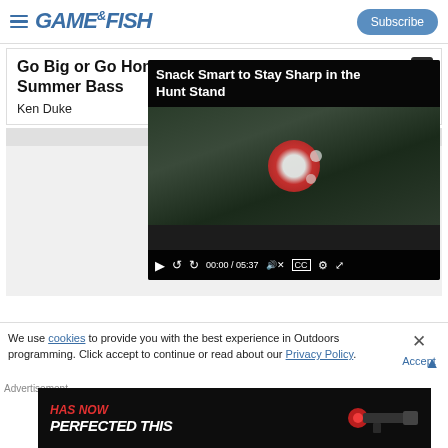GAME&FISH | Subscribe
Go Big or Go Home to Hook Lunker Summer Bass
Ken Duke
[Figure (screenshot): Video player overlay showing 'Snack Smart to Stay Sharp in the Hunt Stand' with video controls showing 00:00 / 05:37]
We use cookies to provide you with the best experience in Outdoors programming. Click accept to continue or read about our Privacy Policy.
[Figure (screenshot): Advertisement banner with black background showing 'HAS NOW PERFECTED THIS' text in red and white with a gun sight/scope image]